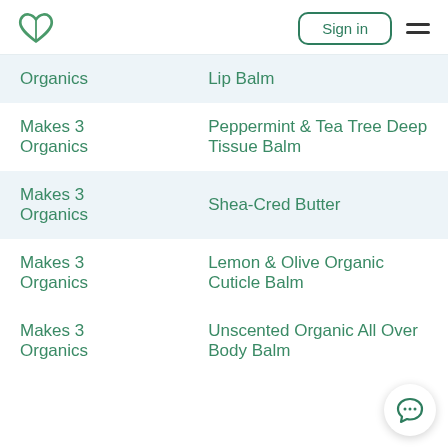Sign in
| Brand | Product |
| --- | --- |
| Organics | Lip Balm |
| Makes 3 Organics | Peppermint & Tea Tree Deep Tissue Balm |
| Makes 3 Organics | Shea-Cred Butter |
| Makes 3 Organics | Lemon & Olive Organic Cuticle Balm |
| Makes 3 Organics | Unscented Organic All Over Body Balm |